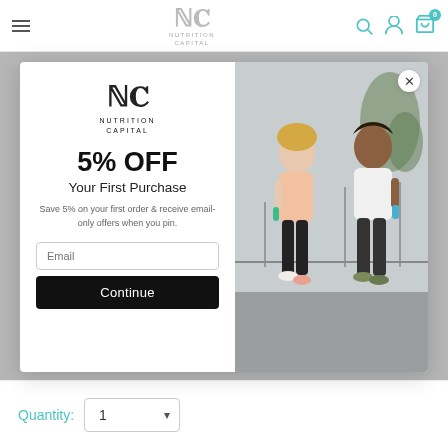Nutrition Capital - navigation bar with hamburger menu, logo, search, account, and cart icons
[Figure (screenshot): Nutrition Capital popup modal with 5% OFF discount offer, email signup form, and photo of two people walking outdoors with drinks]
5% OFF
Your First Purchase
Save 5% on your first order & receive email-only offers when you pin.
Quantity: 1
Continue